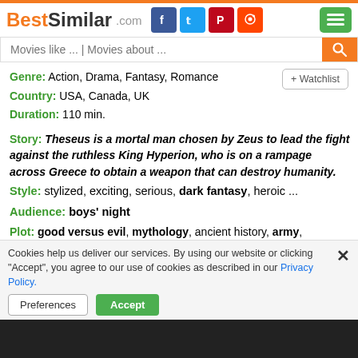BestSimilar.com
Movies like ... | Movies about ...
Genre: Action, Drama, Fantasy, Romance
Country: USA, Canada, UK
Duration: 110 min.
Story: Theseus is a mortal man chosen by Zeus to lead the fight against the ruthless King Hyperion, who is on a rampage across Greece to obtain a weapon that can destroy humanity.
Style: stylized, exciting, serious, dark fantasy, heroic ...
Audience: boys' night
Plot: good versus evil, mythology, ancient history, army, immortality, legends and myths, greek, greek mythology, adventure, heroes, greek god, ancient ...
Time: future
Cookies help us deliver our services. By using our website or clicking "Accept", you agree to our use of cookies as described in our Privacy Policy.